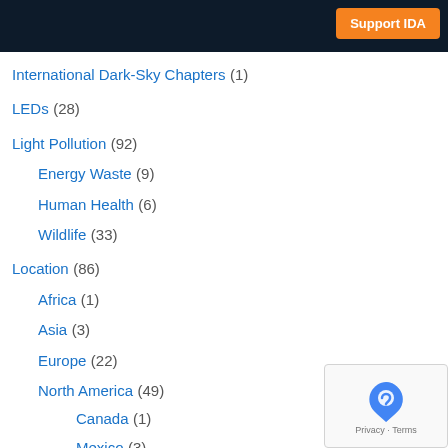Support IDA
International Dark-Sky Chapters (1)
LEDs (28)
Light Pollution (92)
Energy Waste (9)
Human Health (6)
Wildlife (33)
Location (86)
Africa (1)
Asia (3)
Europe (22)
North America (49)
Canada (1)
Mexico (3)